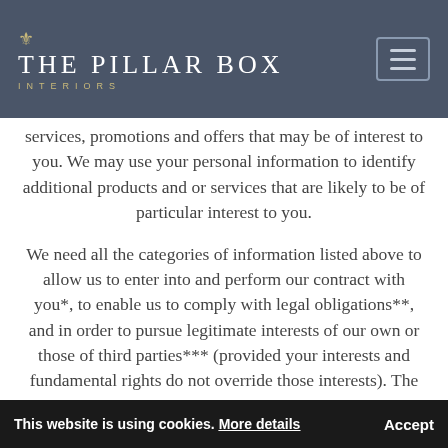THE PILLAR BOX INTERIORS
services, promotions and offers that may be of interest to you. We may use your personal information to identify additional products and or services that are likely to be of particular interest to you.

We need all the categories of information listed above to allow us to enter into and perform our contract with you*, to enable us to comply with legal obligations**, and in order to pursue legitimate interests of our own or those of third parties*** (provided your interests and fundamental rights do not override those interests). The situations in which we will process your personal data are listed below. We have indicated by asterisks* ... or purposes for which we are processing or will process
This website is using cookies. More details  Accept